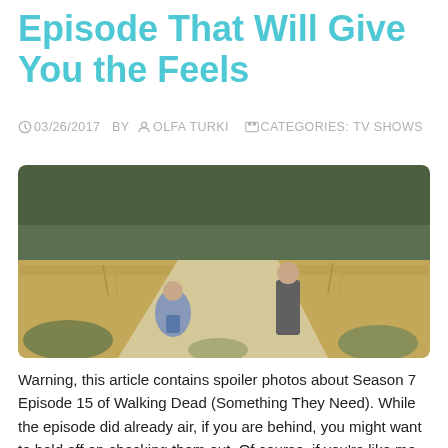Episode That Will Give You the Feels
03/26/2017  BY  OLFA TURKI   CATEGORIES:  TV SHOWS
[Figure (photo): Two people standing on a dirt road surrounded by dry grass and trees — a woman kneeling on the left and an older man in a suit standing on the right. Scene from The Walking Dead Season 7 Episode 15.]
Warning, this article contains spoiler photos about Season 7 Episode 15 of Walking Dead (Something They Need). While the episode did already air, if you are behind, you might want to hold off on checking them out. Of course, if you're like me and actually like some mild spoilers, then definitely read